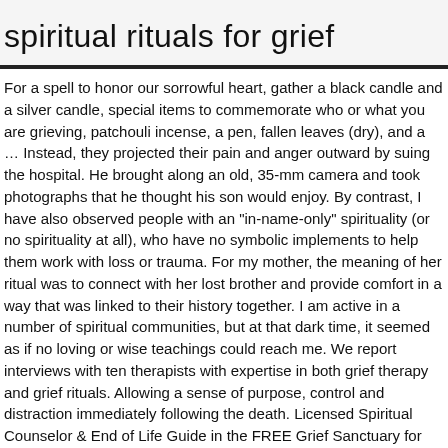spiritual rituals for grief
For a spell to honor our sorrowful heart, gather a black candle and a silver candle, special items to commemorate who or what you are grieving, patchouli incense, a pen, fallen leaves (dry), and a … Instead, they projected their pain and anger outward by suing the hospital. He brought along an old, 35-mm camera and took photographs that he thought his son would enjoy. By contrast, I have also observed people with an "in-name-only" spirituality (or no spirituality at all), who have no symbolic implements to help them work with loss or trauma. For my mother, the meaning of her ritual was to connect with her lost brother and provide comfort in a way that was linked to their history together. I am active in a number of spiritual communities, but at that dark time, it seemed as if no loving or wise teachings could reach me. We report interviews with ten therapists with expertise in both grief therapy and grief rituals. Allowing a sense of purpose, control and distraction immediately following the death. Licensed Spiritual Counselor & End of Life Guide in the FREE Grief Sanctuary for "Rituals & Spiritual Practices" We thank Max Bazerman, Eugene Caruso, Zoe Chance, David … Some clients who write the aforementioned letter, for instance, find it most symbolic and healing to do something like burn the letter